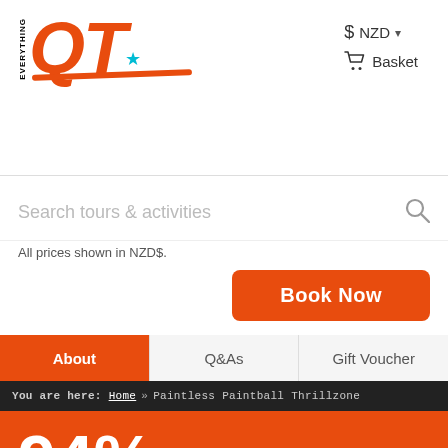Everything QT logo with NZD currency selector and Basket
Search tours & activities
All prices shown in NZD$.
Book Now
About | Q&As | Gift Voucher
You are here: Home » Paintless Paintball Thrillzone
94% RATING
94% of new customers that used Everything Queenstown to provide advice and securely book